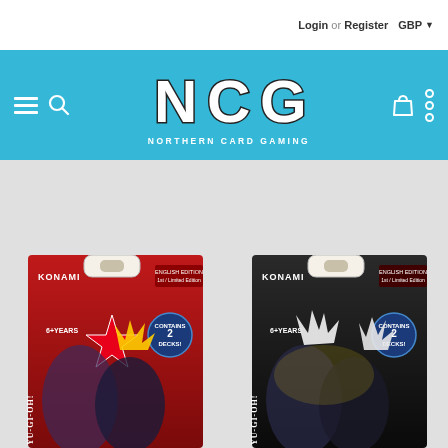Login or Register  GBP
[Figure (logo): Northern Card Gaming (NCG) logo — large block letters NCG with 'NORTHERN CARD GAMING' below, on a teal/blue background]
[Figure (photo): Two Yu-Gi-Oh! Konami card game starter deck boxes side by side. Left box is red themed with Yugi and Kaiba characters, labeled '6+ YEARS', 'CONTAINS 2 DECKS!', 'ENGLISH EDITION', '1st/Limited Edition'. Right box is black themed with white-haired characters, same badges.]